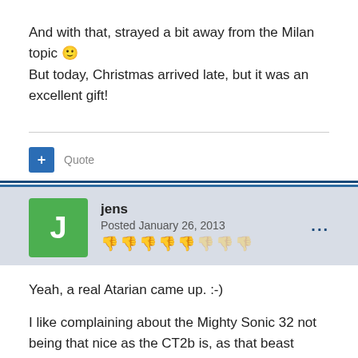And with that, strayed a bit away from the Milan topic 🙂 But today, Christmas arrived late, but it was an excellent gift!
Quote
jens
Posted January 26, 2013
Yeah, a real Atarian came up. :-)
I like complaining about the Mighty Sonic 32 not being that nice as the CT2b is, as that beast actually is faster and holds more RAM, still being as compatible as the MS32 is